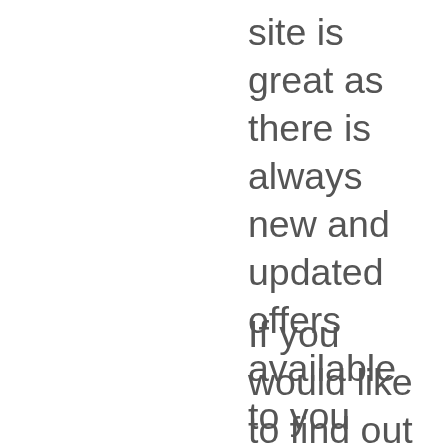site is great as there is always new and updated offers available to you throughout the day, which makes it easy to rack up a good amount of points over a short time span. I am normally able to make at least $5 a day just by going through each of the offer walls and browsing to see what new things they have to offer.
If you would like to find out more about Keep Rewarding, be sure to check out my review for them here.